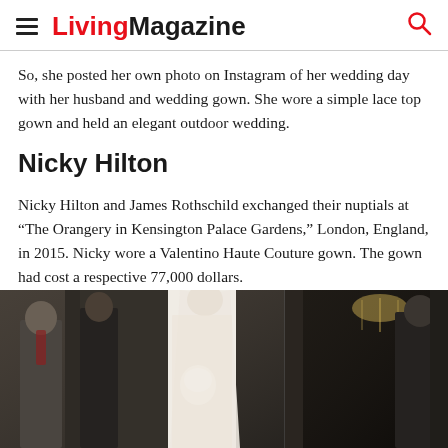Living Magazine
So, she posted her own photo on Instagram of her wedding day with her husband and wedding gown. She wore a simple lace top gown and held an elegant outdoor wedding.
Nicky Hilton
Nicky Hilton and James Rothschild exchanged their nuptials at “The Orangery in Kensington Palace Gardens,” London, England, in 2015. Nicky wore a Valentino Haute Couture gown. The gown had cost a respective 77,000 dollars.
[Figure (photo): Wedding photo of Nicky Hilton in a white lace Valentino gown with veil, holding a bouquet, walking with people in formal attire. Dark interior architectural setting.]